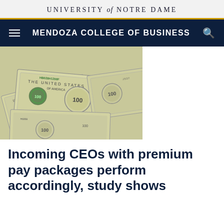UNIVERSITY of NOTRE DAME
MENDOZA COLLEGE OF BUSINESS
[Figure (photo): Pile of US $100 dollar bills scattered and overlapping]
Incoming CEOs with premium pay packages perform accordingly, study shows